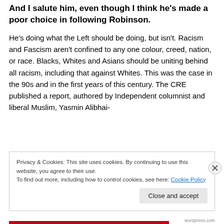And I salute him, even though I think he's made a poor choice in following Robinson.
He's doing what the Left should be doing, but isn't. Racism and Fascism aren't confined to any one colour, creed, nation, or race. Blacks, Whites and Asians should be uniting behind all racism, including that against Whites. This was the case in the 90s and in the first years of this century. The CRE published a report, authored by Independent columnist and liberal Muslim, Yasmin Alibhai-
Privacy & Cookies: This site uses cookies. By continuing to use this website, you agree to their use.
To find out more, including how to control cookies, see here: Cookie Policy
Close and accept